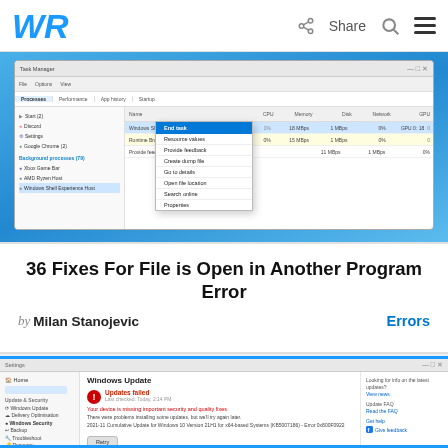WR | Share
[Figure (screenshot): Windows Task Manager screenshot with a right-click context menu open on a process, showing options like End task, Resource values, Provide feedback, Create dump file, Go to details, Open file location, Search online, Properties]
36 Fixes For File is Open in Another Program Error
by Milan Stanojevic
Errors
[Figure (screenshot): Windows Update settings page showing 'Updates failed' status with error message and Retry button]